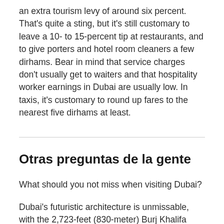an extra tourism levy of around six percent. That's quite a sting, but it's still customary to leave a 10- to 15-percent tip at restaurants, and to give porters and hotel room cleaners a few dirhams. Bear in mind that service charges don't usually get to waiters and that hospitality worker earnings in Dubai are usually low. In taxis, it's customary to round up fares to the nearest five dirhams at least.
Otras preguntas de la gente
What should you not miss when visiting Dubai?
Dubai's futuristic architecture is unmissable, with the 2,723-feet (830-meter) Burj Khalifa skyscraper, sail-